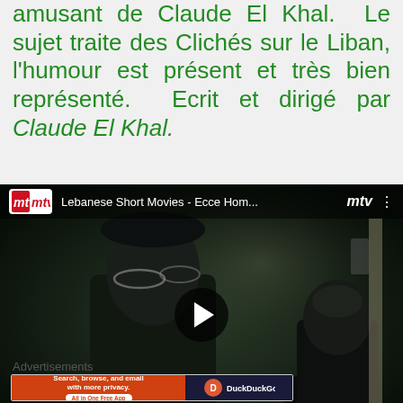amusant de Claude El Khal. Le sujet traite des Clichés sur le Liban, l'humour est présent et très bien représenté. Ecrit et dirigé par Claude El Khal.
[Figure (screenshot): YouTube video thumbnail showing Lebanese Short Movies - Ecce Hom... with MTV Lebanon branding, dark scene with two men, play button overlay, subtitle 'Ok, Inshallah bey!']
Advertisements
[Figure (screenshot): DuckDuckGo advertisement banner: Search, browse, and email with more privacy. All in One Free App. DuckDuckGo logo on dark blue background.]